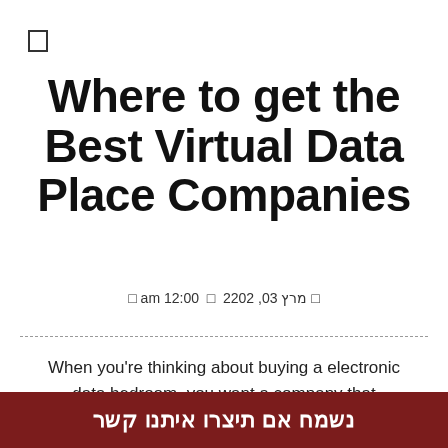[Figure (other): Small rectangle/checkbox icon in top-left corner]
Where to get the Best Virtual Data Place Companies
□ מרץ 30, 2022 □ am 12:00
When you're thinking about buying a electronic data bedroom, you want a company that
נשמח אם תיצרו איתנו קשר